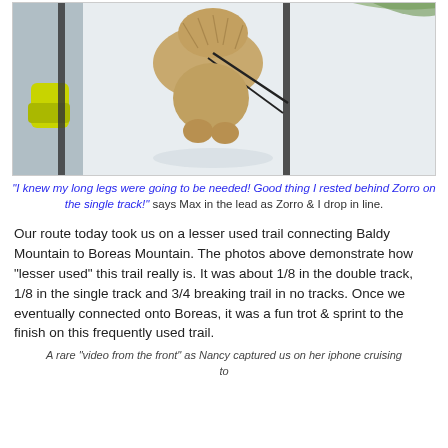[Figure (photo): Photo of a dog on a snowy trail with ski poles visible on the sides, taken from above looking down at the snow.]
"I knew my long legs were going to be needed! Good thing I rested behind Zorro on the single track!" says Max in the lead as Zorro & I drop in line.
Our route today took us on a lesser used trail connecting Baldy Mountain to Boreas Mountain. The photos above demonstrate how "lesser used" this trail really is. It was about 1/8 in the double track, 1/8 in the single track and 3/4 breaking trail in no tracks. Once we eventually connected onto Boreas, it was a fun trot & sprint to the finish on this frequently used trail.
A rare "video from the front" as Nancy captured us on her iphone cruising to